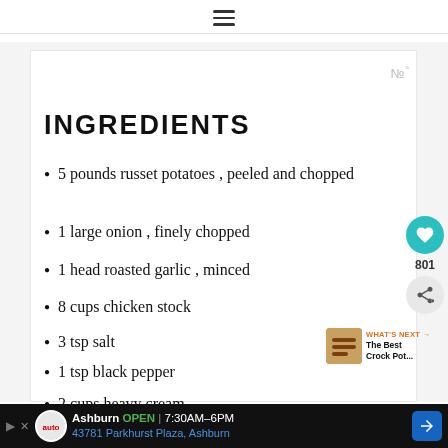☰ (hamburger menu icon)
INGREDIENTS
5 pounds russet potatoes , peeled and chopped
1 large onion , finely chopped
1 head roasted garlic , minced
8 cups chicken stock
3 tsp salt
1 tsp black pepper
2 cups heavy cream
Topping...
Ashburn OPEN 7:30AM–6PM | 43781 Parkhurst Plaza, Ashburn